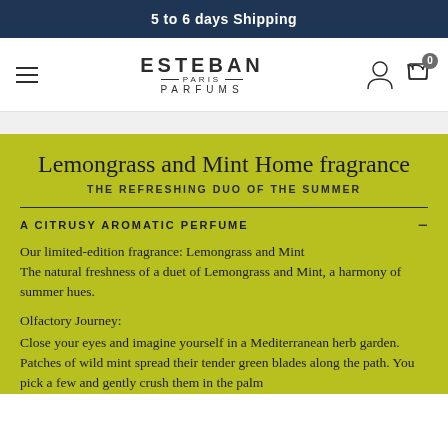5 to 6 days Shipping
[Figure (logo): Esteban Paris Parfums logo with hamburger menu and cart icon with 0 badge]
Lemongrass and Mint Home fragrance
THE REFRESHING DUO OF THE SUMMER
A CITRUSY AROMATIC PERFUME
Our limited-edition fragrance: Lemongrass and Mint
The natural freshness of a duet of Lemongrass and Mint, a harmony of summer hues.
Olfactory Journey:
Close your eyes and imagine yourself in a Mediterranean herb garden. Patches of wild mint spread their tender green blades along the path. You pick a few and gently crush them in the palm